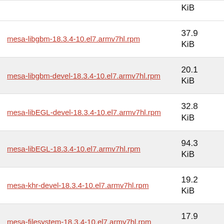| Filename | Size |
| --- | --- |
| mesa-libgbm-18.3.4-10.el7.armv7hl.rpm | 37.9 KiB |
| mesa-libgbm-devel-18.3.4-10.el7.armv7hl.rpm | 20.1 KiB |
| mesa-libEGL-devel-18.3.4-10.el7.armv7hl.rpm | 32.8 KiB |
| mesa-libEGL-18.3.4-10.el7.armv7hl.rpm | 94.3 KiB |
| mesa-khr-devel-18.3.4-10.el7.armv7hl.rpm | 19.2 KiB |
| mesa-filesystem-18.3.4-10.el7.armv7hl.rpm | 17.9 KiB |
| mesa-dri-drivers-18.3.4-10.el7.armv7hl.rpm | 3.7 MiB |